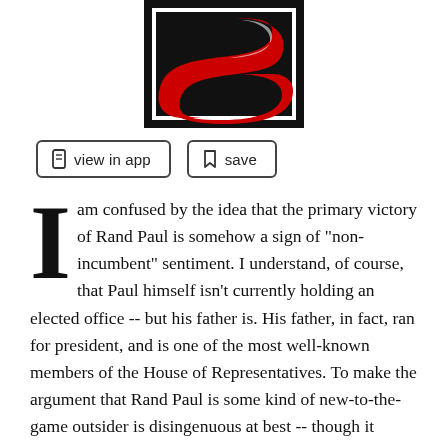[Figure (logo): Slate magazine logo — red stylized S-shape on black background with white border]
view in app   save
I am confused by the idea that the primary victory of Rand Paul is somehow a sign of "non-incumbent" sentiment. I understand, of course, that Paul himself isn't currently holding an elected office -- but his father is. His father, in fact, ran for president, and is one of the most well-known members of the House of Representatives. To make the argument that Rand Paul is some kind of new-to-the-game outsider is disingenuous at best -- though it